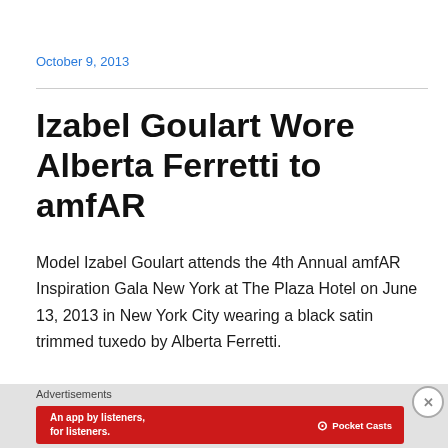October 9, 2013
Izabel Goulart Wore Alberta Ferretti to amfAR
Model Izabel Goulart attends the 4th Annual amfAR Inspiration Gala New York at The Plaza Hotel on June 13, 2013 in New York City wearing a black satin trimmed tuxedo by Alberta Ferretti.
[Figure (infographic): Advertisement banner: Pocket Casts app ad with red background, text 'An app by listeners, for listeners.' and Pocket Casts logo. Labeled 'Advertisements' above it. A close button (X in circle) in top right.]